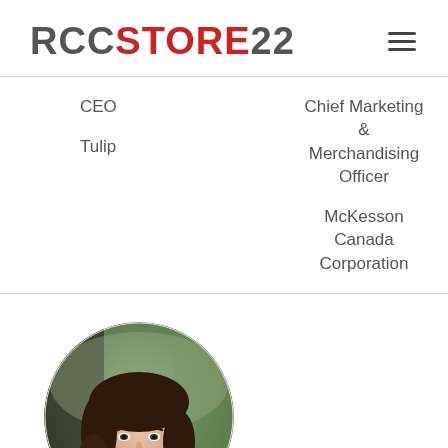RCCSTORE22
CEO
Chief Marketing & Merchandising Officer
Tulip
McKesson Canada Corporation
[Figure (photo): Circular portrait photo of a young woman with dark hair, smiling, outdoors background]